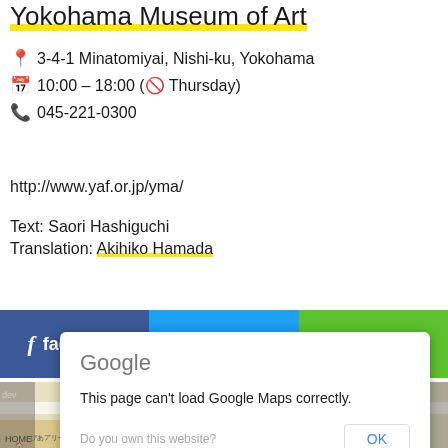Yokohama Museum of Art
📍 3-4-1 Minatomiyai, Nishi-ku, Yokohama
🗓 10:00 – 18:00 (🚫 Thursday)
📞 045-221-0300
http://www.yaf.or.jp/yma/
Text: Saori Hashiguchi
Translation: Akihiko Hamada
[Figure (screenshot): Social media share buttons: Facebook (blue), Twitter (light blue), LINE (green)]
[Figure (screenshot): Google Maps error dialog: 'This page can't load Google Maps correctly.' with OK button, overlaid on a map screenshot]